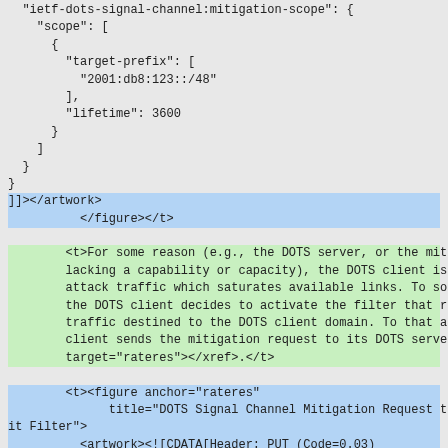JSON/XML code block showing DOTS signal channel mitigation scope and figure markup with highlighted sections
Uri-Path and Content-Format code block
ietf-dots-signal-channel:mitigation-scope JSON block